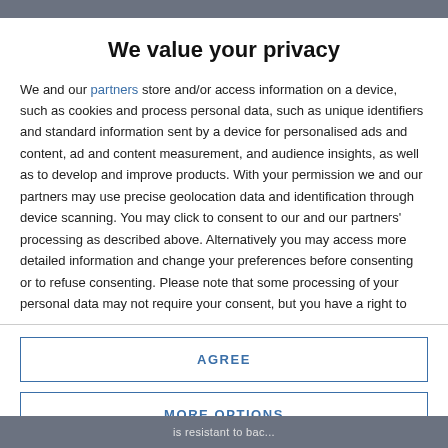We value your privacy
We and our partners store and/or access information on a device, such as cookies and process personal data, such as unique identifiers and standard information sent by a device for personalised ads and content, ad and content measurement, and audience insights, as well as to develop and improve products. With your permission we and our partners may use precise geolocation data and identification through device scanning. You may click to consent to our and our partners' processing as described above. Alternatively you may access more detailed information and change your preferences before consenting or to refuse consenting. Please note that some processing of your personal data may not require your consent, but you have a right to
AGREE
MORE OPTIONS
is resistant to bac...